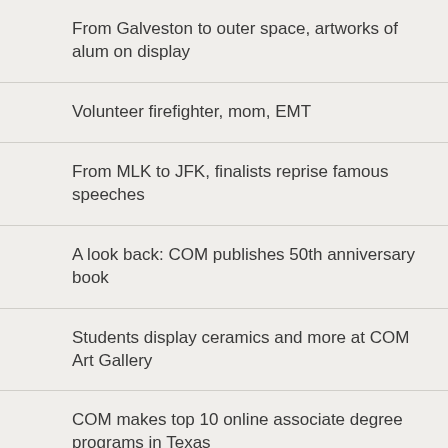From Galveston to outer space, artworks of alum on display
Volunteer firefighter, mom, EMT
From MLK to JFK, finalists reprise famous speeches
A look back: COM publishes 50th anniversary book
Students display ceramics and more at COM Art Gallery
COM makes top 10 online associate degree programs in Texas
American classics and more in free concert
Future pipefitters wanted
9 ways to stay fit in the holidays